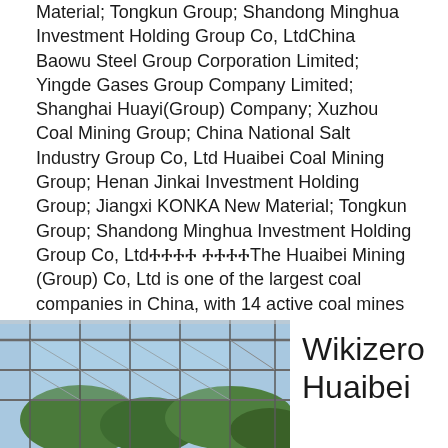Material; Tongkun Group; Shandong Minghua Investment Holding Group Co, LtdChina Baowu Steel Group Corporation Limited; Yingde Gases Group Company Limited; Shanghai Huayi(Group) Company; Xuzhou Coal Mining Group; China National Salt Industry Group Co, Ltd Huaibei Coal Mining Group; Henan Jinkai Investment Holding Group; Jiangxi KONKA New Material; Tongkun Group; Shandong Minghua Investment Holding Group Co, Ltd꜀꜀꜀꜀ ꜀꜀꜀꜀The Huaibei Mining (Group) Co, Ltd is one of the largest coal companies in China, with 14 active coal mines producing 16 million tonnes of coal annually Production is increasing as new mine construction continues These mines liberate approximately 210 million cubic meters (74 billion cubic feet) of methane annually, creating significant opportunity for investment in coal mine methaneHUAIBEI MINING (GROUP O TD ANHUI PROVINCE
[Figure (photo): Industrial structure photo showing a steel framework/greenhouse-like building with glass or transparent roof panels, trees visible in background, taken from inside looking up.]
Wikizero Huaibei